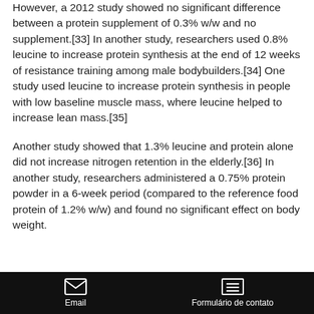However, a 2012 study showed no significant difference between a protein supplement of 0.3% w/w and no supplement.[33] In another study, researchers used 0.8% leucine to increase protein synthesis at the end of 12 weeks of resistance training among male bodybuilders.[34] One study used leucine to increase protein synthesis in people with low baseline muscle mass, where leucine helped to increase lean mass.[35]
Another study showed that 1.3% leucine and protein alone did not increase nitrogen retention in the elderly.[36] In another study, researchers administered a 0.75% protein powder in a 6-week period (compared to the reference food protein of 1.2% w/w) and found no significant effect on body weight.
Email   Formulário de contato